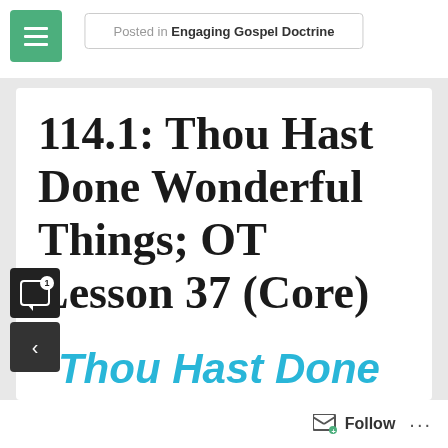Posted in Engaging Gospel Doctrine
114.1: Thou Hast Done Wonderful Things; OT Lesson 37 (Core)
“Thou Hast Done Wonderful Things”
Follow